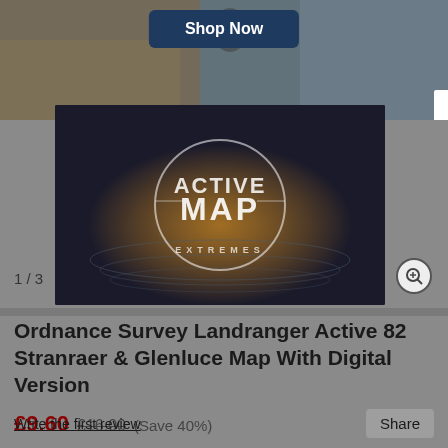[Figure (screenshot): Top banner ad with outdoor/hunting scene background and dark navy 'Shop Now' button. A scroll indicator bar is visible on the right.]
[Figure (photo): Product image showing 'Active Map Extremes' logo overlaid on a water/landscape background photo. Dark themed product image.]
1 / 3
Ordnance Survey Landranger Active 82 Stranraer & Glenluce Map With Digital Version
£9.60  £16.00  (Save 40%)
Write the first review
Share